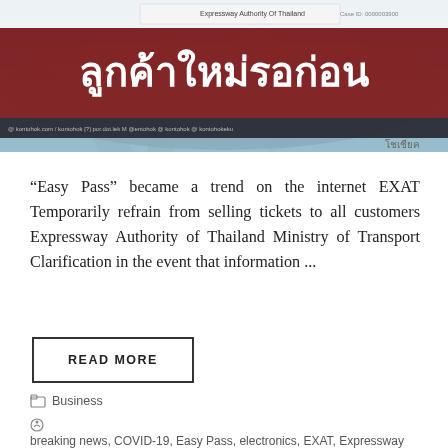[Figure (screenshot): Banner image with aerial expressway photo background, dark red overlay with Thai text 'ลูกค้าใหม่รอก่อน' (New customers wait first), social media icons bar at bottom, and 'โชเชียค' label at bottom right. Top bar shows 'Expressway Authority Of Thailand' with a code number.]
“Easy Pass” became a trend on the internet EXAT Temporarily refrain from selling tickets to all customers Expressway Authority of Thailand Ministry of Transport Clarification in the event that information ...
READ MORE
Business
breaking news, COVID-19, Easy Pass, electronics, EXAT, Expressway Authority of Thailand, Khom Luek, Kom Chad Luek Online, latest news, Ministry of Transport